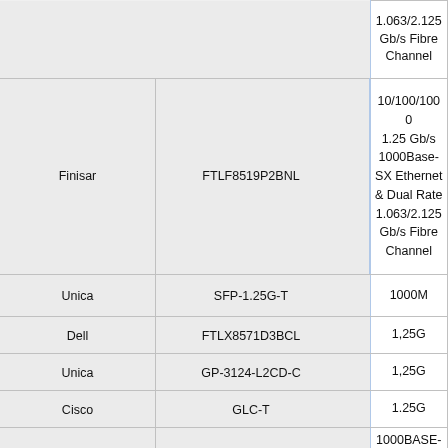|  |  | Vendor | Model | Spec |
| --- | --- | --- | --- | --- |
|  |  |  |  | 1.063/2.125 Gb/s Fibre Channel |
|  |  | Finisar | FTLF8519P2BNL | 10/100/1000 1.25 Gb/s 1000Base-SX Ethernet & Dual Rate 1.063/2.125 Gb/s Fibre Channel |
|  |  | Unica | SFP-1.25G-T | 1000M |
|  |  | Dell | FTLX8571D3BCL | 1,25G |
|  |  | Unica | GP-3124-L2CD-C | 1,25G |
|  |  | Cisco | GLC-T | 1.25G |
|  |  |  |  | 1000BASE-SX SFP |